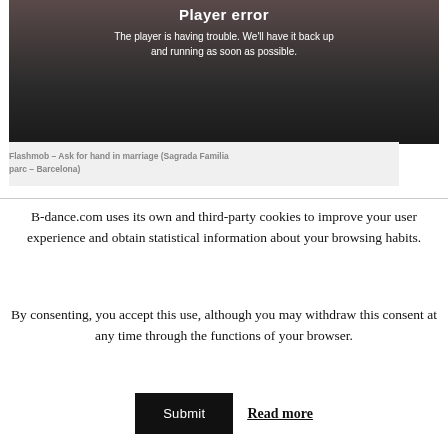[Figure (screenshot): Video player showing error state with dark overlay over a blurred background photo of people. White text reads 'Player error' as heading and 'The player is having trouble. We'll have it back up and running as soon as possible.' as body text.]
Flashmob – Ask for hand in marriage (Sagrada Familia parc – Barcelona)
B-dance.com uses its own and third-party cookies to improve your user experience and obtain statistical information about your browsing habits.
By consenting, you accept this use, although you may withdraw this consent at any time through the functions of your browser.
Submit   Read more